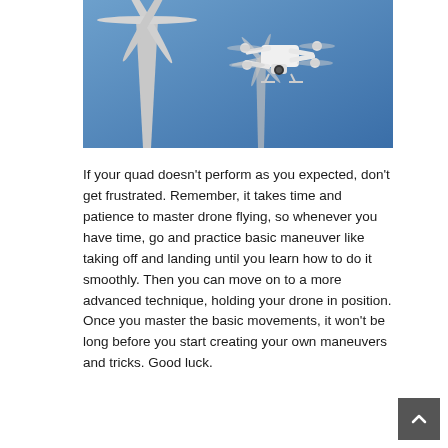[Figure (photo): A white quadcopter drone flying in front of a wind turbine against a blue sky background]
If your quad doesn't perform as you expected, don't get frustrated. Remember, it takes time and patience to master drone flying, so whenever you have time, go and practice basic maneuver like taking off and landing until you learn how to do it smoothly. Then you can move on to a more advanced technique, holding your drone in position. Once you master the basic movements, it won't be long before you start creating your own maneuvers and tricks. Good luck.